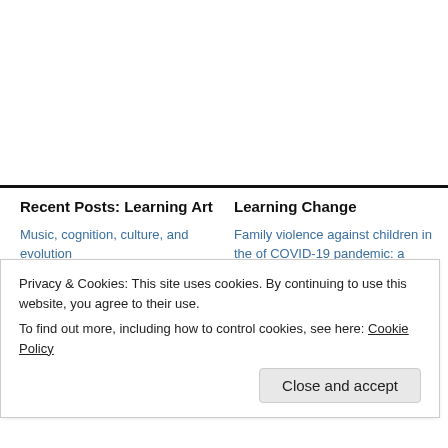Recent Posts: Learning Art
Music, cognition, culture, and evolution
Without it no music: cognition, biology and evolution of musicality
How to use music to fine tune your child for school
Learning Change
Family violence against children in the of COVID-19 pandemic: a review of cu perspectives and risk factors
Parental Social Isolation and Child Maltreatment Risk during the COVID-19
Privacy & Cookies: This site uses cookies. By continuing to use this website, you agree to their use.
To find out more, including how to control cookies, see here: Cookie Policy
Close and accept